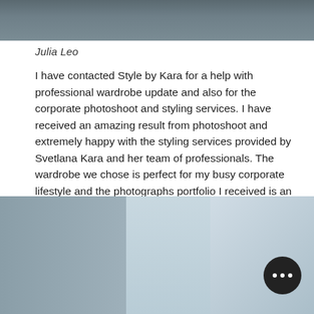[Figure (photo): Top portion of a person in dark clothing, cropped at torso]
Julia Leo
I have contacted Style by Kara for a help with professional wardrobe update and also for the corporate photoshoot and styling services. I have received an amazing result from photoshoot and extremely happy with the styling services provided by Svetlana Kara and her team of professionals. The wardrobe we chose is perfect for my busy corporate lifestyle and the photographs portfolio I received is an absolute gem! Thank you, Svetlana, for the awesome job!
[Figure (photo): City skyline with tall buildings photographed from street level]